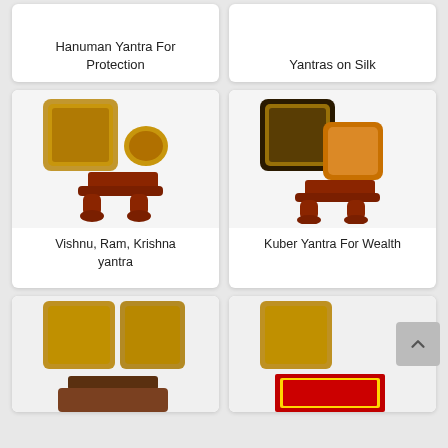[Figure (photo): Hanuman Yantra For Protection product image - partially visible at top]
Hanuman Yantra For Protection
[Figure (photo): Yantras on Silk product image - partially visible at top]
Yantras on Silk
[Figure (photo): Vishnu Ram Krishna yantra - gold colored yantra plates on decorative wooden stand]
Vishnu, Ram, Krishna yantra
[Figure (photo): Kuber Yantra For Wealth - dark and amber colored yantra plates on wooden stand]
Kuber Yantra For Wealth
[Figure (photo): Bottom left yantra product - gold colored yantra plates partially visible]
[Figure (photo): Bottom right yantra product - gold colored yantra with red frame partially visible]